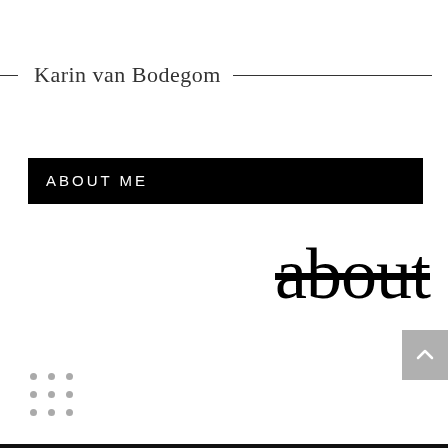Karin van Bodegom
ABOUT ME
about
[Figure (other): 3x3 grid of small grey dots, decorative element]
[Figure (other): Grey back-to-top button with upward chevron arrow]